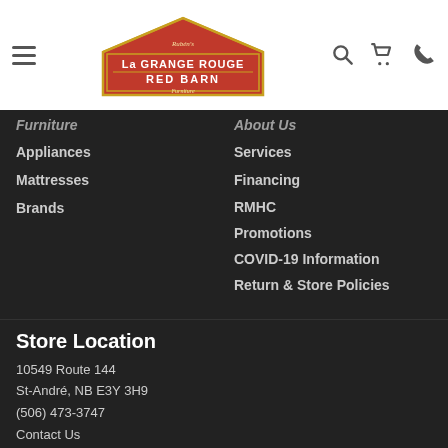[Figure (logo): La Grange Rouge Red Barn furniture store logo — red barn-shaped sign with gold border]
Furniture
Appliances
Mattresses
Brands
About Us
Services
Financing
RMHC
Promotions
COVID-19 Information
Return & Store Policies
Store Location
10549 Route 144
St-André, NB E3Y 3H9
(506) 473-3747
Contact Us